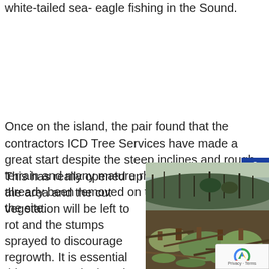white-tailed sea- eagle fishing in the Sound.
Once on the island, the pair found that the contractors ICD Tree Services have made a great start despite the steep inclines and rough terrain and many mature rhododendrons have already been removed on the south section of the site.
This has really opened up the area and the cut vegetation will be left to rot and the stumps sprayed to discourage regrowth. It is essential this treatment is done in the first minutes after felling so that the plant absorbs the herbicide. A
[Figure (photo): Photograph of cleared vegetation on a steep hillside island, showing felled rhododendron stumps and cut branches in the foreground, with bare trees and a water view visible in the background.]